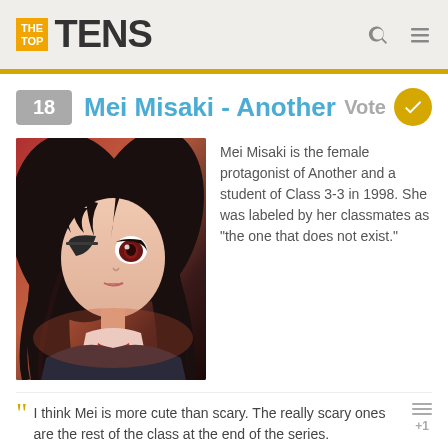THE TOP TENS
18 Mei Misaki - Another Vote
[Figure (illustration): Anime illustration of Mei Misaki from the series 'Another' — a dark-haired girl with a red eye visible, wearing a school uniform with a red neckerchief, with dark moody tones.]
Mei Misaki is the female protagonist of Another and a student of Class 3-3 in 1998. She was labeled by her classmates as "the one that does not exist."
I think Mei is more cute than scary. The really scary ones are the rest of the class at the end of the series.
+ 2 Comments